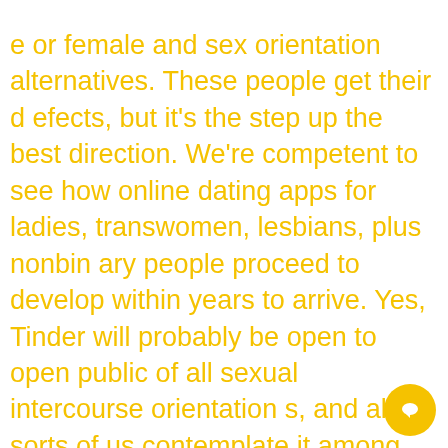e or female and sex orientation alternatives. These people get their defects, but it's the step up the best direction. We're competent to see how online dating apps for ladies, transwomen, lesbians, plus nonbinary people proceed to develop within years to arrive. Yes, Tinder will probably be open to open public of all sexual intercourse orientations, and all sorts of us contemplate it among the best apps for lesbians seeking a quick date.
Depending on recent figures, the particular LGBT community includes roughly five per cent from the American population, yet where happen to be almost all the lesbian public? Unless gay bars are your point, dating is growing quickly a game title linked to guess and examine; realizing that is gay, not to mention that can be solitary and thinking about much more than friendship, is actually a challenge. As opposed to a few lesbian porn Internet dating sites that will only concentrate on the belief that you're girls looking for girls, the online dating agencyis also about compatibility.
Shifting through everyone will be far too a lot effort, and this need end up that way will. HER states end up being the 'app which will int
[Figure (other): Yellow circular chat/message bubble icon in bottom right corner]